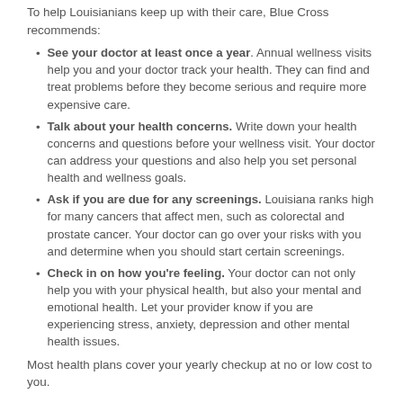To help Louisianians keep up with their care, Blue Cross recommends:
See your doctor at least once a year. Annual wellness visits help you and your doctor track your health. They can find and treat problems before they become serious and require more expensive care.
Talk about your health concerns. Write down your health concerns and questions before your wellness visit. Your doctor can address your questions and also help you set personal health and wellness goals.
Ask if you are due for any screenings. Louisiana ranks high for many cancers that affect men, such as colorectal and prostate cancer. Your doctor can go over your risks with you and determine when you should start certain screenings.
Check in on how you're feeling. Your doctor can not only help you with your physical health, but also your mental and emotional health. Let your provider know if you are experiencing stress, anxiety, depression and other mental health issues.
Most health plans cover your yearly checkup at no or low cost to you.